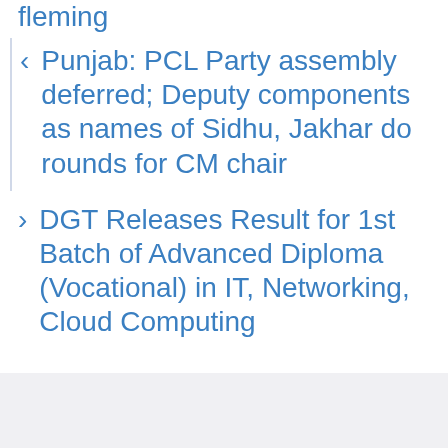fleming
Punjab: PCL Party assembly deferred; Deputy components as names of Sidhu, Jakhar do rounds for CM chair
DGT Releases Result for 1st Batch of Advanced Diploma (Vocational) in IT, Networking, Cloud Computing